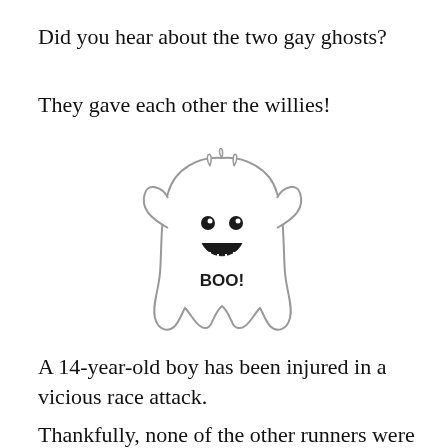Did you hear about the two gay ghosts?
They gave each other the willies!
[Figure (illustration): A cartoon ghost with a smiling face, arms outstretched, with 'BOO!' text on its body. The ghost is drawn in outline style with black facial features.]
A 14-year-old boy has been injured in a vicious race attack.
Thankfully, none of the other runners were